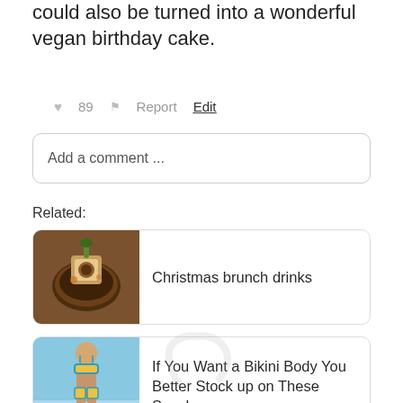could also be turned into a wonderful vegan birthday cake.
♥ 89   ⚑ Report   Edit
Add a comment ...
Related:
Christmas brunch drinks
If You Want a Bikini Body You Better Stock up on These Snacks